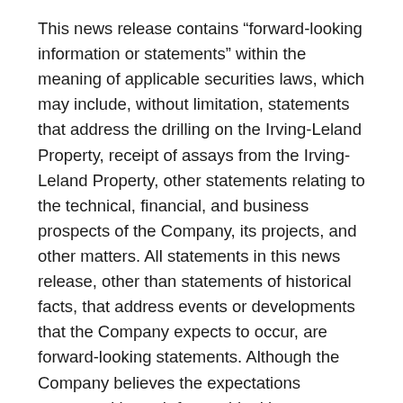This news release contains “forward-looking information or statements” within the meaning of applicable securities laws, which may include, without limitation, statements that address the drilling on the Irving-Leland Property, receipt of assays from the Irving-Leland Property, other statements relating to the technical, financial, and business prospects of the Company, its projects, and other matters. All statements in this news release, other than statements of historical facts, that address events or developments that the Company expects to occur, are forward-looking statements. Although the Company believes the expectations expressed in such forward-looking statements are based on reasonable assumptions, such statements are not guarantees of future performance and actual results may differ materially from those in the forward-looking statements. Such statements and information are based on numerous assumptions regarding present and future business strategies and the